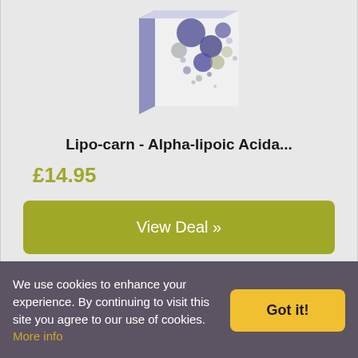[Figure (photo): Product box image for Lipo-carn Alpha-lipoic Acid supplement with purple/blue spheres design on white box with lavender spine]
Lipo-carn - Alpha-lipoic Acida...
£14.95
View Deal »
We use cookies to enhance your experience. By continuing to visit this site you agree to our use of cookies. More info
Got it!